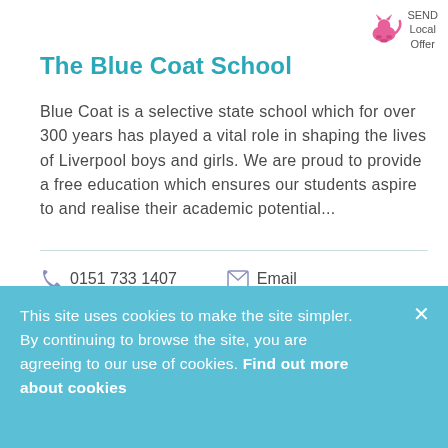[Figure (logo): SEND Local Offer logo with pink animal figure and text 'SEND Local Offer']
The Blue Coat School
Blue Coat is a selective state school which for over 300 years has played a vital role in shaping the lives of Liverpool boys and girls. We are proud to provide a free education which ensures our students aspire to and realise their academic potential...
0151 733 1407   Email   Website
This site uses cookies to make the site simpler. By continuing to browse the site, you are agreeing to our use of cookies. Find out more about cookies